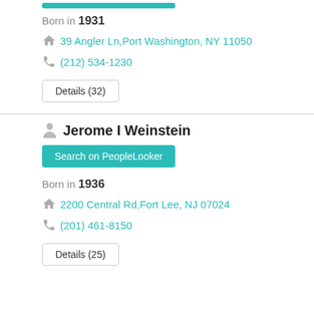Born in 1931
39 Angler Ln,Port Washington, NY 11050
(212) 534-1230
Details (32)
Jerome I Weinstein
Search on PeopleLooker
Born in 1936
2200 Central Rd,Fort Lee, NJ 07024
(201) 461-8150
Details (25)